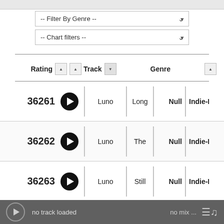[Figure (screenshot): Music player web interface showing filter dropdowns for Genre and Chart filters, a sortable data table with columns Rating, Track, Genre listing rows 36261-36265 with artist/track info, and a player footer bar showing 'no track loaded' and 'no mix ...']
| Rating |  | Artist | Track | Rating/Null | Genre |
| --- | --- | --- | --- | --- | --- |
| 36261 | ▶ | Luno | Long | Null | Indie-R... |
| 36262 | ▶ | Luno | The | Null | Indie-Rock, |
| 36263 | ▶ | Luno | Still | Null | Indie-Rock, |
| 36264 | ▶ | ODORBABY | SINNLÖSCHER | Nu |  |
| 36265 | ▶ | Patrick | Nuit Du | Nuit Du |  |
no track loaded    no mix ...